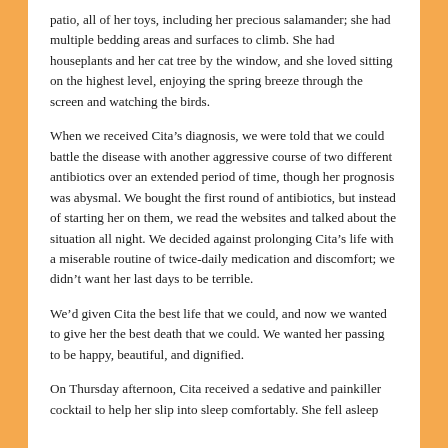patio, all of her toys, including her precious salamander; she had multiple bedding areas and surfaces to climb. She had houseplants and her cat tree by the window, and she loved sitting on the highest level, enjoying the spring breeze through the screen and watching the birds.
When we received Cita’s diagnosis, we were told that we could battle the disease with another aggressive course of two different antibiotics over an extended period of time, though her prognosis was abysmal. We bought the first round of antibiotics, but instead of starting her on them, we read the websites and talked about the situation all night. We decided against prolonging Cita’s life with a miserable routine of twice-daily medication and discomfort; we didn’t want her last days to be terrible.
We’d given Cita the best life that we could, and now we wanted to give her the best death that we could. We wanted her passing to be happy, beautiful, and dignified.
On Thursday afternoon, Cita received a sedative and painkiller cocktail to help her slip into sleep comfortably. She fell asleep